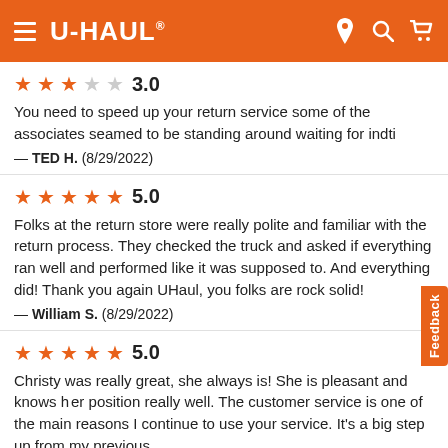U-HAUL
3.0 — You need to speed up your return service some of the associates seamed to be standing around waiting for indti — TED H. (8/29/2022)
5.0 — Folks at the return store were really polite and familiar with the return process. They checked the truck and asked if everything ran well and performed like it was supposed to. And everything did! Thank you again UHaul, you folks are rock solid! — William S. (8/29/2022)
5.0 — Christy was really great, she always is! She is pleasant and knows her position really well. The customer service is one of the main reasons I continue to use your service. It's a big step up from my previous